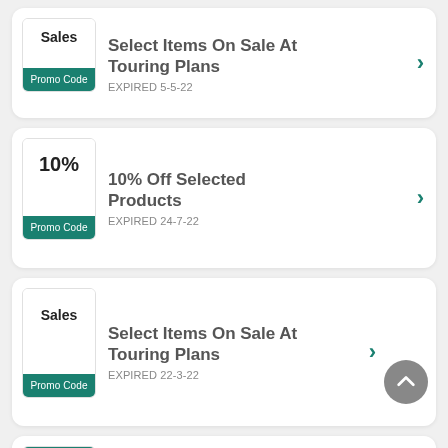Sales | Promo Code | Select Items On Sale At Touring Plans | EXPIRED 5-5-22
10% | Promo Code | 10% Off Selected Products | EXPIRED 24-7-22
Sales | Promo Code | Select Items On Sale At Touring Plans | EXPIRED 22-3-22
Select Items On Sale At (partial)